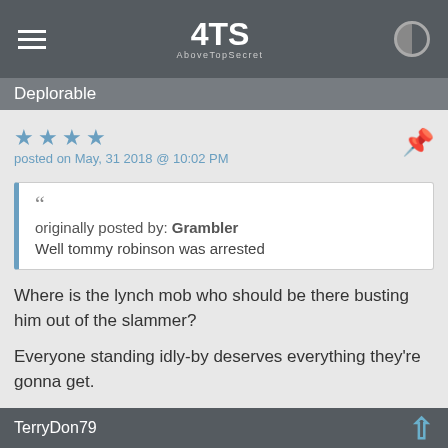[Figure (screenshot): AboveTopSecret (ATS) website navigation bar with hamburger menu, ATS logo, and brightness toggle icon]
Deplorable
posted on May, 31 2018 @ 10:02 PM
originally posted by: Grambler
Well tommy robinson was arrested
Where is the lynch mob who should be there busting him out of the slammer?

Everyone standing idly-by deserves everything they're gonna get.

Shame!!
TerryDon79